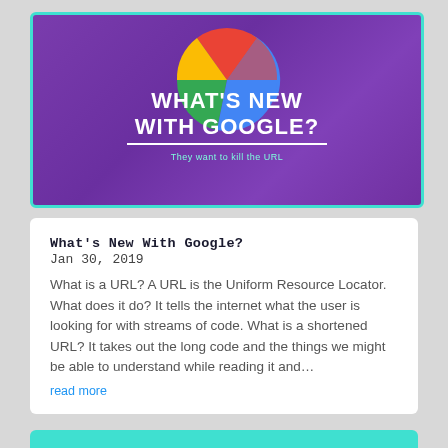[Figure (illustration): Banner with purple gradient background, Google logo (colorful G circle with red, yellow, green, blue segments), large white bold text 'WHAT'S NEW WITH GOOGLE?', underline, and small teal subtitle text 'They want to kill the URL']
What's New With Google?
Jan 30, 2019
What is a URL? A URL is the Uniform Resource Locator. What does it do? It tells the internet what the user is looking for with streams of code. What is a shortened URL? It takes out the long code and the things we might be able to understand while reading it and…
read more